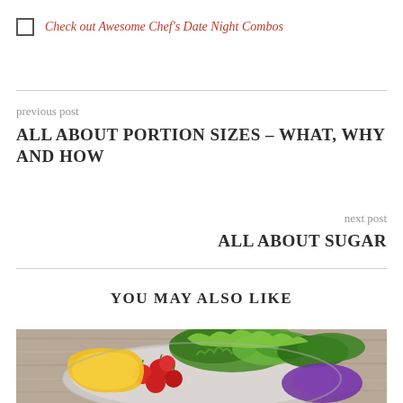Check out Awesome Chef's Date Night Combos
previous post
ALL ABOUT PORTION SIZES – WHAT, WHY AND HOW
next post
ALL ABOUT SUGAR
YOU MAY ALSO LIKE
[Figure (photo): A plate of fresh vegetables including green lettuce, cherry tomatoes, yellow pepper, and purple cabbage on a wooden surface]